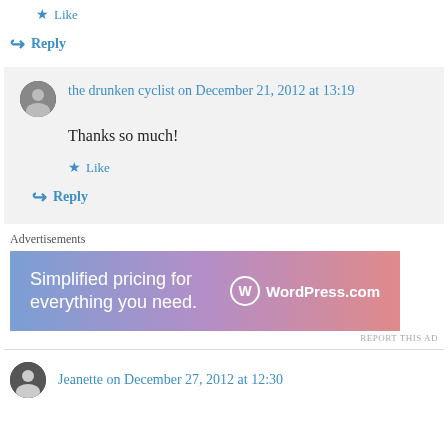★ Like
↪ Reply
the drunken cyclist on December 21, 2012 at 13:19
Thanks so much!
★ Like
↪ Reply
Advertisements
[Figure (other): WordPress.com advertisement banner: 'Simplified pricing for everything you need.' with WordPress.com logo]
REPORT THIS AD
Jeanette on December 27, 2012 at 12:30